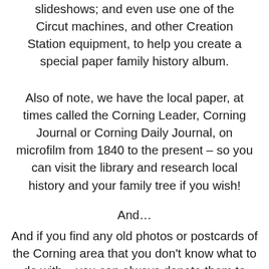slideshows; and even use one of the Circut machines, and other Creation Station equipment, to help you create a special paper family history album.
Also of note, we have the local paper, at times called the Corning Leader, Corning Journal or Corning Daily Journal, on microfilm from 1840 to the present – so you can visit the library and research local history and your family tree if you wish!
And…
And if you find any old photos or postcards of the Corning area that you don't know what to do with – you can always donate them to